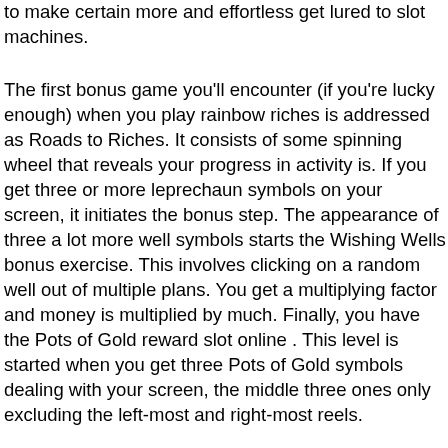to make certain more and effortless get lured to slot machines.
The first bonus game you'll encounter (if you're lucky enough) when you play rainbow riches is addressed as Roads to Riches. It consists of some spinning wheel that reveals your progress in activity is. If you get three or more leprechaun symbols on your screen, it initiates the bonus step. The appearance of three a lot more well symbols starts the Wishing Wells bonus exercise. This involves clicking on a random well out of multiple plans. You get a multiplying factor and money is multiplied by much. Finally, you have the Pots of Gold reward slot online . This level is started when you get three Pots of Gold symbols dealing with your screen, the middle three ones only excluding the left-most and right-most reels.